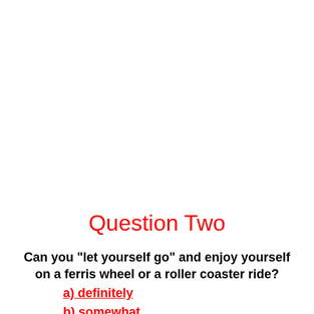Question Two
Can you "let yourself go" and enjoy yourself on a ferris wheel or a roller coaster ride?
a) definitely
b) somewhat